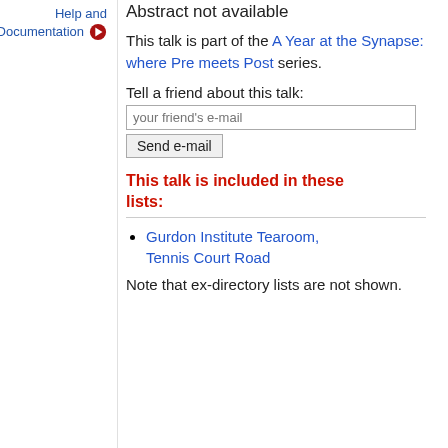Help and Documentation
Abstract not available
This talk is part of the A Year at the Synapse: where Pre meets Post series.
Tell a friend about this talk:
This talk is included in these lists:
Gurdon Institute Tearoom, Tennis Court Road
Note that ex-directory lists are not shown.